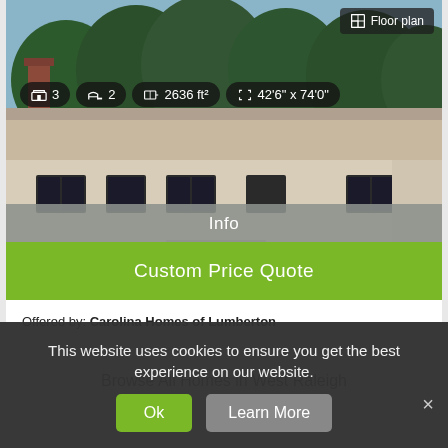[Figure (photo): Exterior rendering of a single-story house with trees in background, showing brick chimney, gray roof, and beige siding]
Floor plan
3  2  2636 ft²  42'6" x 74'0"
Info
Custom Price Quote
Offered by: Carolina Homes of Lumberton
Browse All Homes in West Raleigh
This website uses cookies to ensure you get the best experience on our website.
Ok
Learn More